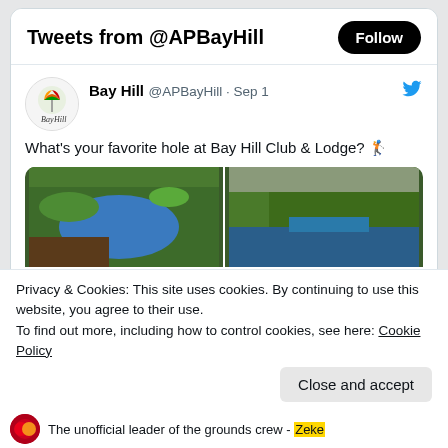Tweets from @APBayHill
Bay Hill @APBayHill · Sep 1
What's your favorite hole at Bay Hill Club & Lodge? 🏌
[Figure (screenshot): Four aerial photos of Bay Hill Club golf course arranged in a 2x2 grid, showing green fairways, water hazards, and sunset views.]
Privacy & Cookies: This site uses cookies. By continuing to use this website, you agree to their use.
To find out more, including how to control cookies, see here: Cookie Policy
The unofficial leader of the grounds crew - Zeke